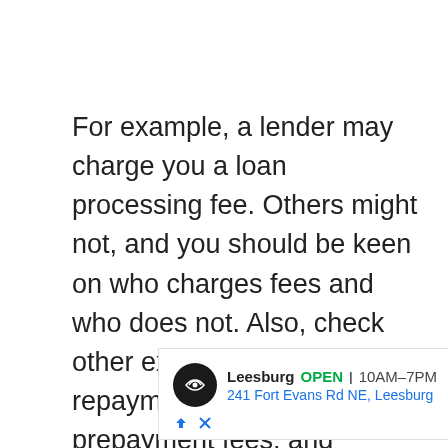For example, a lender may charge you a loan processing fee. Others might not, and you should be keen on who charges fees and who does not. Also, check other expenses such as late repayment fees, no prepayment fees, and repayment penalty(banks charge it if you pay off your
[Figure (other): Advertisement for a store location: Leesburg, OPEN 10AM-7PM, 241 Fort Evans Rd NE, Leesburg, with navigation arrow icon and store logo]